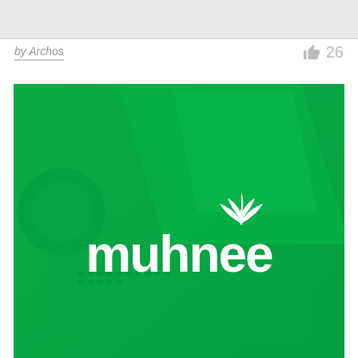by Archos   👍 26
[Figure (logo): Green-tinted photo of a laptop and headphones on a desk, with the 'muhnee' brand logo in white centered over the image. The logo has a stylized leaf/plant motif above the letter 'n'.]